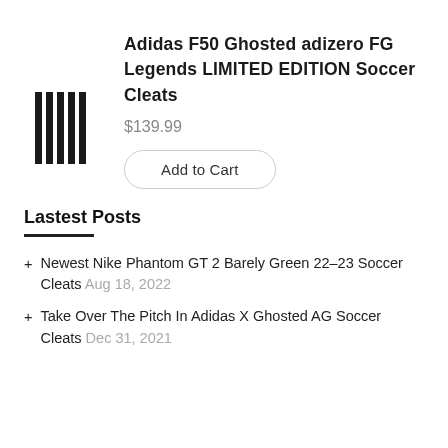[Figure (other): Adidas logo barcode-style vertical bars icon]
Adidas F50 Ghosted adizero FG Legends LIMITED EDITION Soccer Cleats
$139.99
Add to Cart
Lastest Posts
Newest Nike Phantom GT 2 Barely Green 22-23 Soccer Cleats Aug 18, 2022
Take Over The Pitch In Adidas X Ghosted AG Soccer Cleats Dec 31, 2021